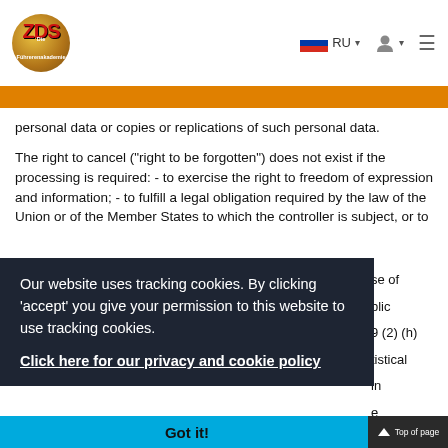[Figure (logo): ZDS logo - golden globe with ZDS text in red and subtitle 'Die Führerenakademie']
personal data or copies or replications of such personal data.
The right to cancel ("right to be forgotten") does not exist if the processing is required: - to exercise the right to freedom of expression and information; - to fulfill a legal obligation required by the law of the Union or of the Member States to which the controller is subject, or to
Our website uses tracking cookies. By clicking 'accept' you give your permission to this website to use tracking cookies.
Click here for our privacy and cookie policy
Got it!
Top of page
You have the right to request that we restrict the pr